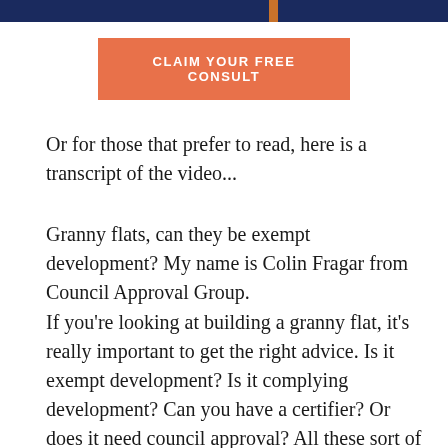[Figure (photo): Top banner image showing a dark navy blue background with an orange/red horizontal stripe element and a partial view of a person on the right side]
CLAIM YOUR FREE CONSULT
Or for those that prefer to read, here is a transcript of the video...
Granny flats, can they be exempt development? My name is Colin Fragar from Council Approval Group.
If you’re looking at building a granny flat, it’s really important to get the right advice. Is it exempt development? Is it complying development? Can you have a certifier? Or does it need council approval? All these sort of questions we answer